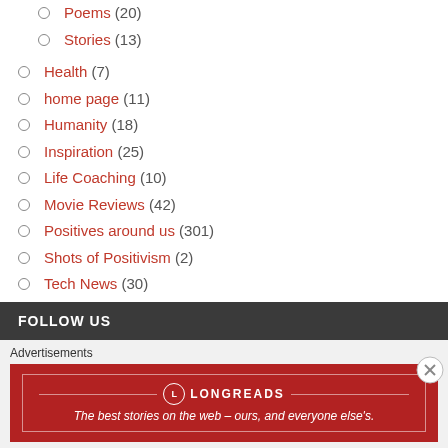Poems (20)
Stories (13)
Health (7)
home page (11)
Humanity (18)
Inspiration (25)
Life Coaching (10)
Movie Reviews (42)
Positives around us (301)
Shots of Positivism (2)
Tech News (30)
Uncategorized (29)
World News (45)
FOLLOW US
Advertisements
LONGREADS — The best stories on the web – ours, and everyone else's.